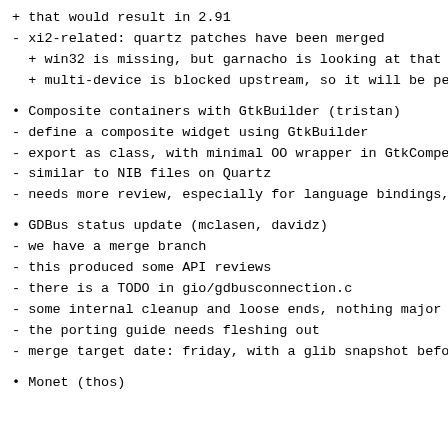+ that would result in 2.91
- xi2-related: quartz patches have been merged
+ win32 is missing, but garnacho is looking at that
+ multi-device is blocked upstream, so it will be pe
• Composite containers with GtkBuilder (tristan)
- define a composite widget using GtkBuilder
- export as class, with minimal OO wrapper in GtkCompe
- similar to NIB files on Quartz
- needs more review, especially for language bindings,
• GDBus status update (mclasen, davidz)
- we have a merge branch
- this produced some API reviews
- there is a TODO in gio/gdbusconnection.c
- some internal cleanup and loose ends, nothing major
- the porting guide needs fleshing out
- merge target date: friday, with a glib snapshot befo
• Monet (thos)